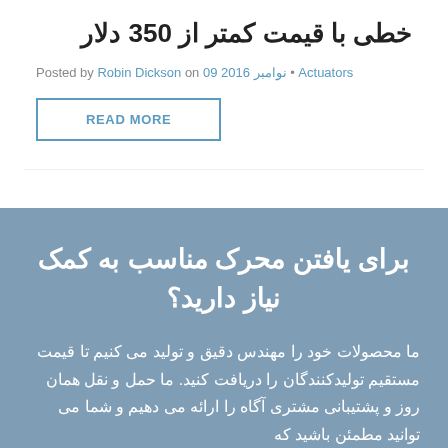خطی با قیمت کمتر از 350 دلار
Posted by Robin Dickson on 09 نوامبر 2016 • Actuators
READ MORE
برای یافتن محرک مناسب به کمک نیاز دارید؟
ما محصولات خود را مهندس دقیق و تولید می کنیم تا قیمت مستقیم تولیدکنندگان را دریافت کنید. ما حمل و نقل همان روز و پشتیبانی مشتری آگاه را ارائه می دهیم و شما می توانید مطمئن باشید که